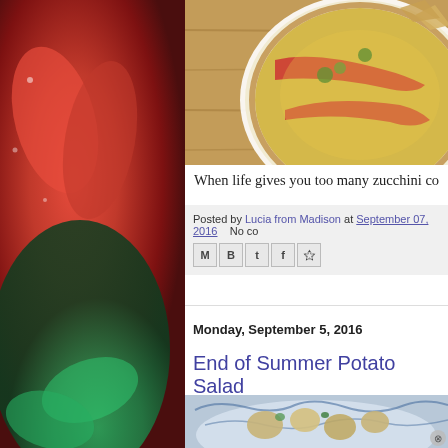[Figure (photo): Left sidebar with red and green pepper vegetable background image]
[Figure (photo): Top photo of a pizza/quiche with tomatoes, broccoli, and cheese in a white dish on a wooden surface]
When life gives you too many zucchini co
Posted by Lucia from Madison at September 07, 2016   No co
[Figure (screenshot): Social sharing icons: Email, Blogger, Twitter, Facebook, Pinterest]
Monday, September 5, 2016
End of Summer Potato Salad
[Figure (photo): Bottom photo showing a bowl of potato salad with blue and white bowl]